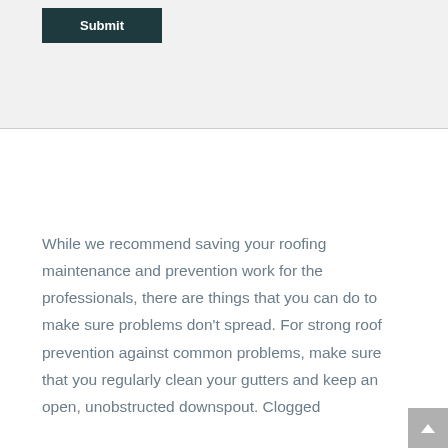[Figure (other): Submit button on light grey background section]
While we recommend saving your roofing maintenance and prevention work for the professionals, there are things that you can do to make sure problems don't spread. For strong roof prevention against common problems, make sure that you regularly clean your gutters and keep an open, unobstructed downspout. Clogged